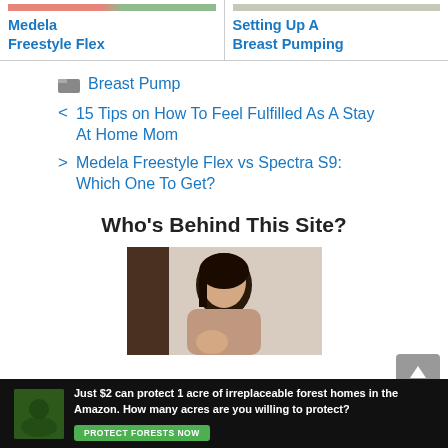[Figure (screenshot): Two article card thumbnails at top: left card shows 'Medela Freestyle Flex', right card shows 'Setting Up A Breast Pumping']
Breast Pump
< 15 Tips on How To Feel Fulfilled As A Stay At Home Mom
> Medela Freestyle Flex vs Spectra S9: Which One To Get?
Who's Behind This Site?
[Figure (photo): Photo of an Asian woman holding a child, in a home setting]
[Figure (infographic): Advertisement banner: 'Just $2 can protect 1 acre of irreplaceable forest homes in the Amazon. How many acres are you willing to protect?' with a green 'PROTECT FORESTS NOW' button]